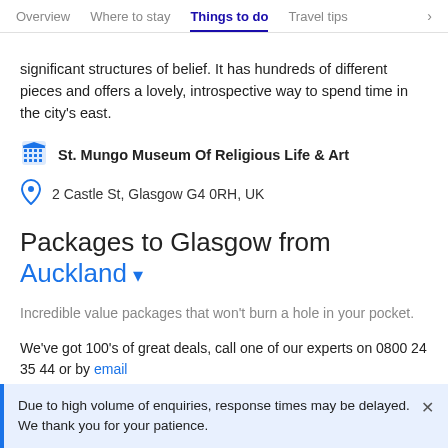Overview | Where to stay | Things to do | Travel tips >
significant structures of belief. It has hundreds of different pieces and offers a lovely, introspective way to spend time in the city's east.
St. Mungo Museum Of Religious Life & Art
2 Castle St, Glasgow G4 0RH, UK
Packages to Glasgow from Auckland
Incredible value packages that won't burn a hole in your pocket.
We've got 100's of great deals, call one of our experts on 0800 24 35 44 or by email
Explore more of Glasgow →
Due to high volume of enquiries, response times may be delayed. We thank you for your patience.